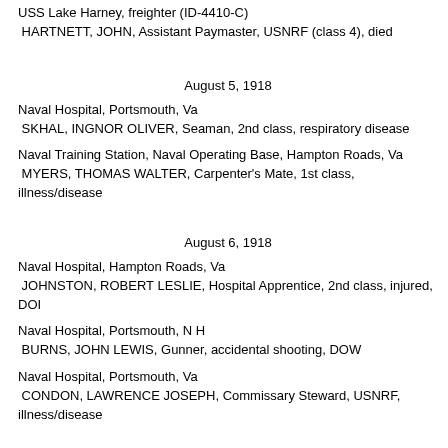USS Lake Harney, freighter (ID-4410-C)
 HARTNETT, JOHN, Assistant Paymaster, USNRF (class 4), died
August 5, 1918
Naval Hospital, Portsmouth, Va
 SKHAL, INGNOR OLIVER, Seaman, 2nd class, respiratory disease
Naval Training Station, Naval Operating Base, Hampton Roads, Va
 MYERS, THOMAS WALTER, Carpenter's Mate, 1st class, illness/disease
August 6, 1918
Naval Hospital, Hampton Roads, Va
 JOHNSTON, ROBERT LESLIE, Hospital Apprentice, 2nd class, injured, DOI
Naval Hospital, Portsmouth, N H
 BURNS, JOHN LEWIS, Gunner, accidental shooting, DOW
Naval Hospital, Portsmouth, Va
 CONDON, LAWRENCE JOSEPH, Commissary Steward, USNRF, illness/disease